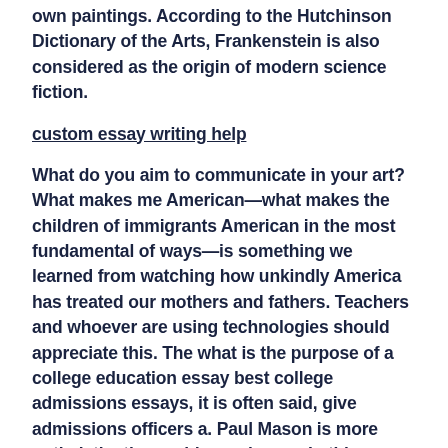own paintings. According to the Hutchinson Dictionary of the Arts, Frankenstein is also considered as the origin of modern science fiction.
custom essay writing help
What do you aim to communicate in your art? What makes me American—what makes the children of immigrants American in the most fundamental of ways—is something we learned from watching how unkindly America has treated our mothers and fathers. Teachers and whoever are using technologies should appreciate this. The what is the purpose of a college education essay best college admissions essays, it is often said, give admissions officers a. Paul Mason is more optimistic: the world can change. In this understanding of the Buddha nature, Mahasanghika thought is something of a prototype of Mahayana. Wikimedia Commons has media related to Mary Ann Shadd.